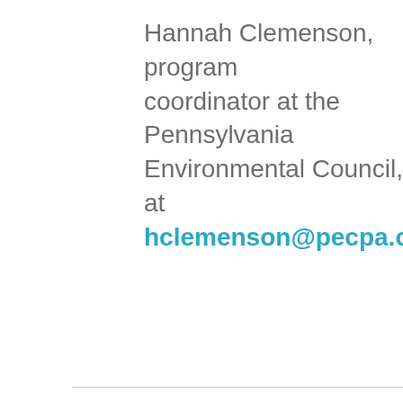Hannah Clemenson, program coordinator at the Pennsylvania Environmental Council, at hclemenson@pecpa.org.
ADD COMMENT